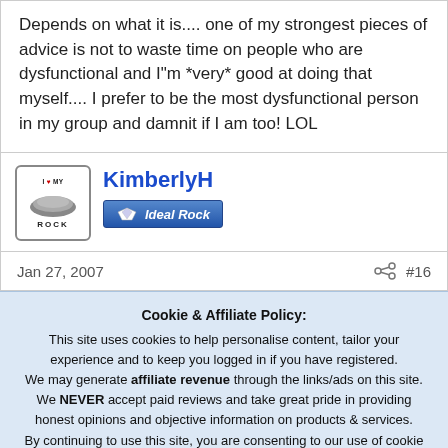Depends on what it is.... one of my strongest pieces of advice is not to waste time on people who are dysfunctional and I"m *very* good at doing that myself.... I prefer to be the most dysfunctional person in my group and damnit if I am too! LOL
KimberlyH — Ideal Rock
Jan 27, 2007  #16
Cookie & Affiliate Policy: This site uses cookies to help personalise content, tailor your experience and to keep you logged in if you have registered. We may generate affiliate revenue through the links/ads on this site. We NEVER accept paid reviews and take great pride in providing honest opinions and objective information on products & services. By continuing to use this site, you are consenting to our use of cookie policy.